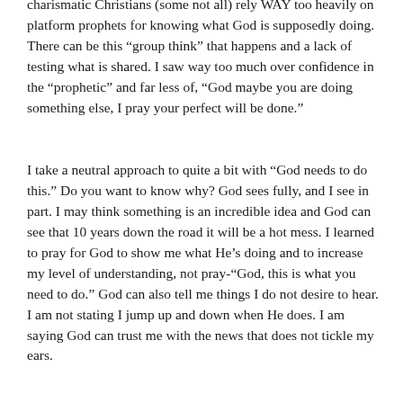charismatic Christians (some not all) rely WAY too heavily on platform prophets for knowing what God is supposedly doing. There can be this “group think” that happens and a lack of testing what is shared. I saw way too much over confidence in the “prophetic” and far less of, “God maybe you are doing something else, I pray your perfect will be done.”
I take a neutral approach to quite a bit with “God needs to do this.” Do you want to know why? God sees fully, and I see in part. I may think something is an incredible idea and God can see that 10 years down the road it will be a hot mess. I learned to pray for God to show me what He’s doing and to increase my level of understanding, not pray-“God, this is what you need to do.” God can also tell me things I do not desire to hear. I am not stating I jump up and down when He does. I am saying God can trust me with the news that does not tickle my ears.